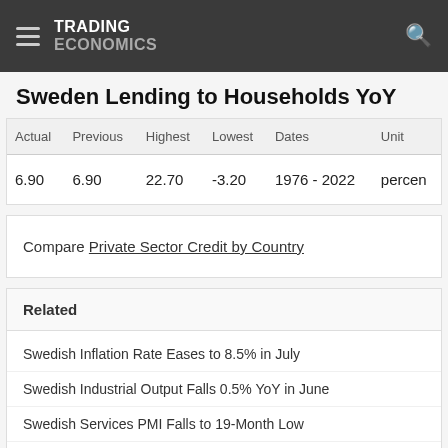TRADING ECONOMICS
Sweden Lending to Households YoY
| Actual | Previous | Highest | Lowest | Dates | Unit |
| --- | --- | --- | --- | --- | --- |
| 6.90 | 6.90 | 22.70 | -3.20 | 1976 - 2022 | percent |
Compare Private Sector Credit by Country
Related
Swedish Inflation Rate Eases to 8.5% in July
Swedish Industrial Output Falls 0.5% YoY in June
Swedish Services PMI Falls to 19-Month Low
Swedish Manufacturing PMI Drops to 2-Year Low
Swedish Business Morale at 16-Month Low